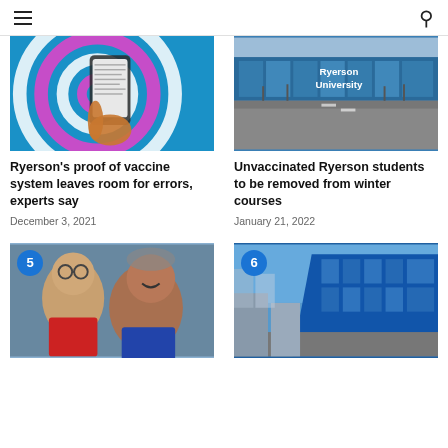[Figure (photo): Hand holding a smartphone showing a document, with colorful concentric circles background in blue, teal, and magenta]
[Figure (photo): Ryerson University building exterior with blue glass facade, winter street scene]
Ryerson’s proof of vaccine system leaves room for errors, experts say
December 3, 2021
Unvaccinated Ryerson students to be removed from winter courses
January 21, 2022
[Figure (photo): Two people taking a selfie, badge number 5]
[Figure (photo): Modern blue glass building exterior, badge number 6]